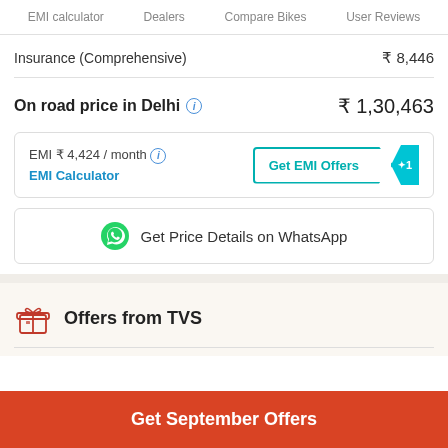EMI calculator   Dealers   Compare Bikes   User Reviews
| Insurance (Comprehensive) | ₹ 8,446 |
| On road price in Delhi | ₹ 1,30,463 |
EMI ₹ 4,424 / month  EMI Calculator  |  Get EMI Offers
Get Price Details on WhatsApp
Offers from TVS
Get September Offers